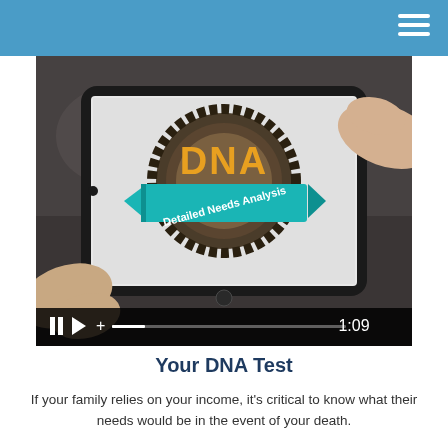[Figure (screenshot): A video screenshot showing a tablet being held in two hands. The tablet screen displays a logo with 'DNA' in large golden letters and a teal ribbon banner reading 'Detailed Needs Analysis'. The video player shows a progress bar and timestamp of 1:09.]
Your DNA Test
If your family relies on your income, it's critical to know what their needs would be in the event of your death.